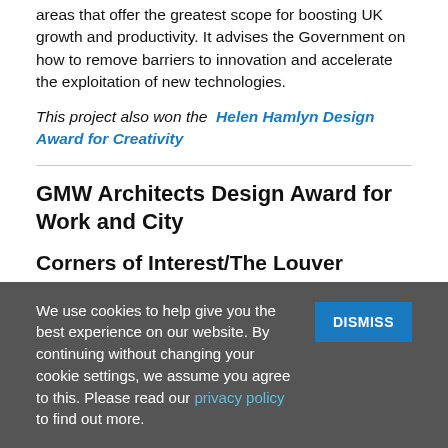areas that offer the greatest scope for boosting UK growth and productivity. It advises the Government on how to remove barriers to innovation and accelerate the exploitation of new technologies.
This project also won the Helen Hamlyn Design Award for Creativity
GMW Architects Design Award for Work and City
Corners of Interest/The Louver Twisting Comb
– Kia Utzon-Frank (RCA Goldsmithing, Smilversmithing, Metalwork and Jewellery)
Corners of Interest: Transformation and personalisation of
We use cookies to help give you the best experience on our website. By continuing without changing your cookie settings, we assume you agree to this. Please read our privacy policy to find out more.